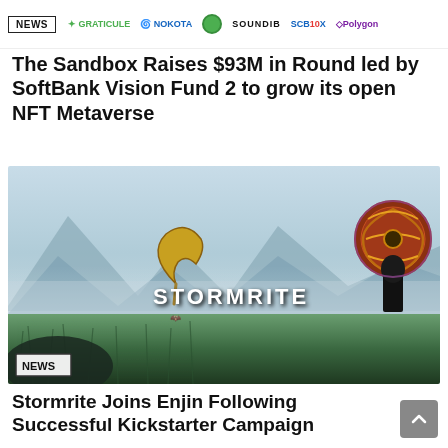NEWS | GRATICULE | NOKOTA | SOUNDIB | SCB10X | Polygon
The Sandbox Raises $93M in Round led by SoftBank Vision Fund 2 to grow its open NFT Metaverse
[Figure (photo): Stormrite game screenshot showing a fantasy landscape with mountains, mist, green grass in foreground, a warrior character on the right holding an ornate shield, and the STORMRITE logo in the lower left with a sickle emblem above it. NEWS badge in lower left corner.]
Stormrite Joins Enjin Following Successful Kickstarter Campaign